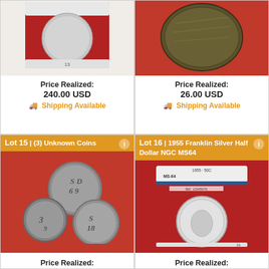[Figure (photo): Coin in NGC slab (top-left, partially visible), showing a Morgan dollar in red holder with label '13']
Price Realized:
240.00 USD
🚚 Shipping Available
[Figure (photo): Coin on red fabric (top-right, partially visible), large dark toned coin]
Price Realized:
26.00 USD
🚚 Shipping Available
Lot 15 | (3) Unknown Coins
[Figure (photo): Three unknown silver tokens/coins on red fabric, marked S9/69, 3/9, S/18]
Price Realized:
Lot 16 | 1955 Franklin Silver Half Dollar NGC MS64
[Figure (photo): 1955 Franklin Silver Half Dollar in NGC MS64 slab in red holder]
Price Realized: